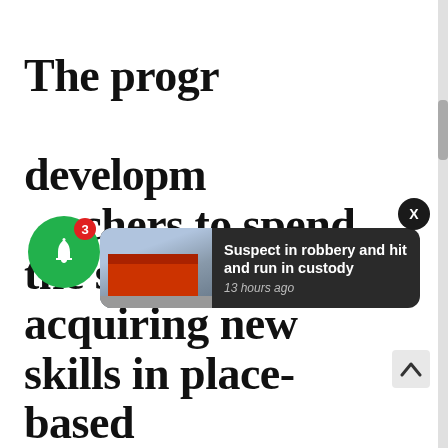[Figure (screenshot): Browser scrollbar on right edge of page]
The progr... developm... chers to spend the summer acquiring new skills in place-based
[Figure (infographic): Green notification bell with badge showing 3 notifications]
[Figure (screenshot): Dark notification toast: 'Suspect in robbery and hit and run in custody' with thumbnail image of store building, 13 hours ago]